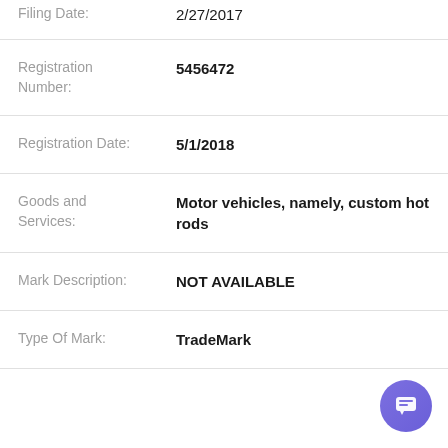Filing Date: 2/27/2017
Registration Number: 5456472
Registration Date: 5/1/2018
Goods and Services: Motor vehicles, namely, custom hot rods
Mark Description: NOT AVAILABLE
Type Of Mark: TradeMark